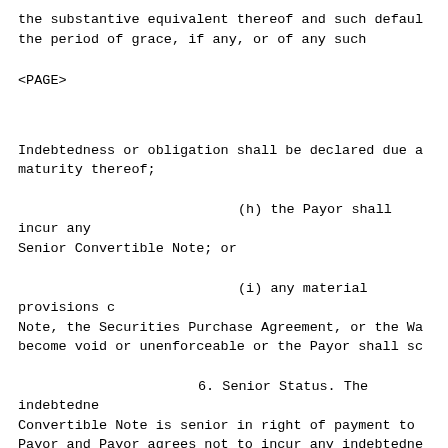the substantive equivalent thereof and such defaul the period of grace, if any, or of any such
<PAGE>
Indebtedness or obligation shall be declared due a maturity thereof;
(h) the Payor shall incur any Senior Convertible Note; or
(i) any material provisions c Note, the Securities Purchase Agreement, or the Wa become void or unenforceable or the Payor shall sc
6. Senior Status. The indebtedne Convertible Note is senior in right of payment to Payor and Payor agrees not to incur any indebtedne senior in right of payment to this Senior Converti